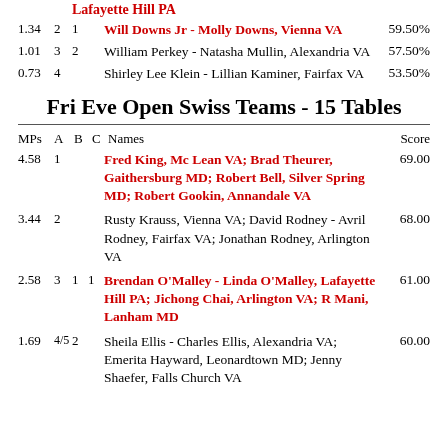Lafayette Hill PA (red heading)
1.34 2 1 | Will Downs Jr - Molly Downs, Vienna VA | 59.50%
1.01 3 2 | William Perkey - Natasha Mullin, Alexandria VA | 57.50%
0.73 4 | Shirley Lee Klein - Lillian Kaminer, Fairfax VA | 53.50%
Fri Eve Open Swiss Teams - 15 Tables
| MPs | A | B | C | Names | Score |
| --- | --- | --- | --- | --- | --- |
| 4.58 | 1 |  |  | Fred King, Mc Lean VA; Brad Theurer, Gaithersburg MD; Robert Bell, Silver Spring MD; Robert Gookin, Annandale VA | 69.00 |
| 3.44 | 2 |  |  | Rusty Krauss, Vienna VA; David Rodney - Avril Rodney, Fairfax VA; Jonathan Rodney, Arlington VA | 68.00 |
| 2.58 | 3 | 1 | 1 | Brendan O'Malley - Linda O'Malley, Lafayette Hill PA; Jichong Chai, Arlington VA; R Mani, Lanham MD | 61.00 |
| 1.69 | 4/5 | 2 |  | Sheila Ellis - Charles Ellis, Alexandria VA; Emerita Hayward, Leonardtown MD; Jenny Shaefer, Falls Church VA | 60.00 |